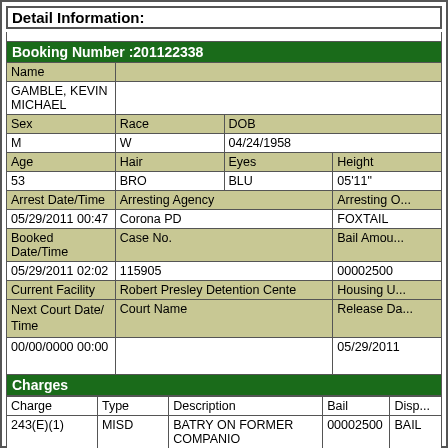Detail Information:
| Booking Number :201122338 |
| --- |
| Name | GAMBLE, KEVIN MICHAEL |  |
| Sex | Race | DOB |
| M | W | 04/24/1958 |
| Age | Hair | Eyes | Height |
| 53 | BRO | BLU | 05'11" |
| Arrest Date/Time | Arresting Agency | Arresting Officer |
| 05/29/2011 00:47 | Corona PD | FOXTAIL |
| Booked Date/Time | Case No. | Bail Amount |
| 05/29/2011 02:02 | 115905 | 00002500 |
| Current Facility | Robert Presley Detention Center | Housing Unit |
| Next Court Date/Time | Court Name | Release Date |
| 00/00/0000 00:00 |  | 05/29/2011 |
Charges
| Charge | Type | Description | Bail | Disposition |
| --- | --- | --- | --- | --- |
| 243(E)(1) | MISD | BATRY ON FORMER COMPANIO | 00002500 | BAIL |